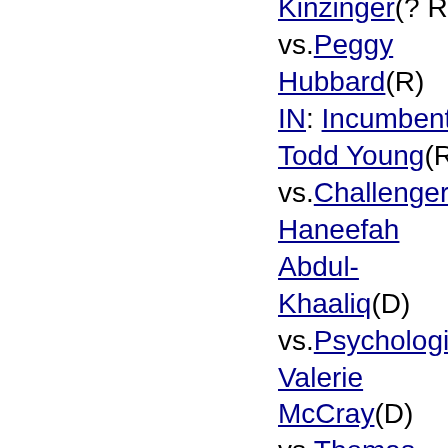Kinzinger(? R) vs.Peggy Hubbard(R) IN: Incumbent Todd Young(R) vs.Challenger Haneefah Abdul-Khaaliq(D) vs.Psychologist Valerie McCray(D) vs.Thomas McDermott(D) KS: Incumbent Jerry Moran(R) vs.Michael Soetaert(D) vs.Mark Holland(D) vs.Joan Farr(R) KY: Incumbent Rand Paul(R) vs.State Rep Charles Booker(D) LA: Incumbent John Kennedy(R) vs.Luke